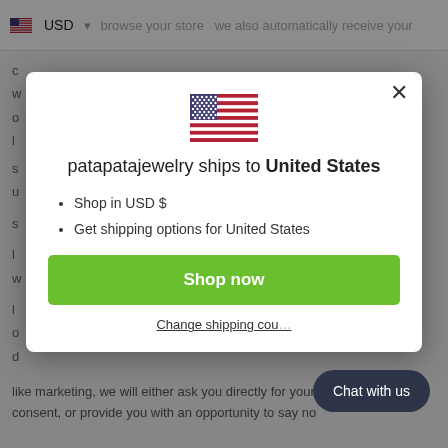USD   browse your store we also automatically receive your
[Figure (screenshot): Modal dialog overlay showing US flag and shipping information for patapatajewelry]
patapatajewelry ships to United States
Shop in USD $
Get shipping options for United States
Shop now
Change shipping cou...
Chat with us
like marketing, we will either ask you directly for your expressed consent, or provide you with an opportunity to say no